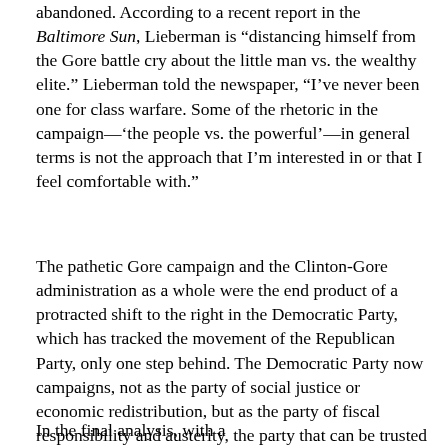abandoned. According to a recent report in the Baltimore Sun, Lieberman is “distancing himself from the Gore battle cry about the little man vs. the wealthy elite.” Lieberman told the newspaper, “I’ve never been one for class warfare. Some of the rhetoric in the campaign—‘the people vs. the powerful’—in general terms is not the approach that I’m interested in or that I feel comfortable with.”
The pathetic Gore campaign and the Clinton-Gore administration as a whole were the end product of a protracted shift to the right in the Democratic Party, which has tracked the movement of the Republican Party, only one step behind. The Democratic Party now campaigns, not as the party of social justice or economic redistribution, but as the party of fiscal responsibility and austerity, the party that can be trusted by Wall Street.
In the final analysis, withament compare the interest